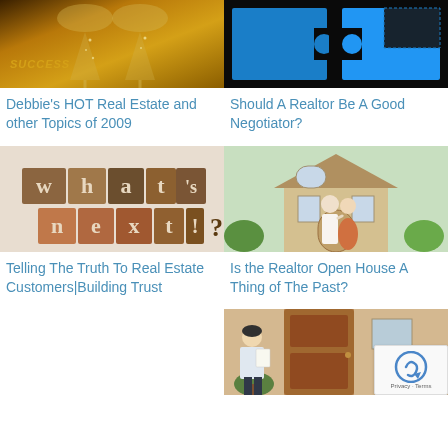[Figure (photo): Champagne glasses with SUCCESS text overlay on golden background]
[Figure (photo): Blue puzzle pieces on black background]
Debbie's HOT Real Estate and other Topics of 2009
Should A Realtor Be A Good Negotiator?
[Figure (photo): Letterpress blocks spelling 'what's next?']
[Figure (photo): Couple looking at house from behind]
Telling The Truth To Real Estate Customers|Building Trust
Is the Realtor Open House A Thing of The Past?
[Figure (photo): Realtor standing at door holding papers, OPEN sign visible]
[Figure (other): reCAPTCHA badge with Privacy and Terms links]